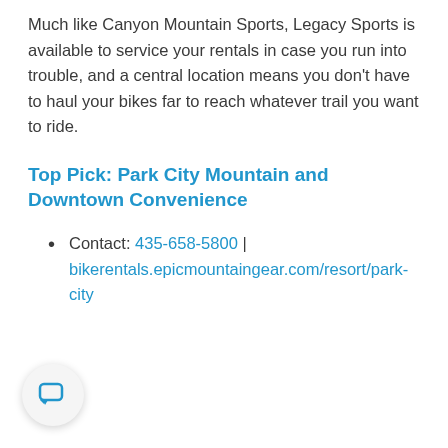Much like Canyon Mountain Sports, Legacy Sports is available to service your rentals in case you run into trouble, and a central location means you don't have to haul your bikes far to reach whatever trail you want to ride.
Top Pick: Park City Mountain and Downtown Convenience
Contact: 435-658-5800 | bikerentals.epicmountaingear.com/resort/park-city